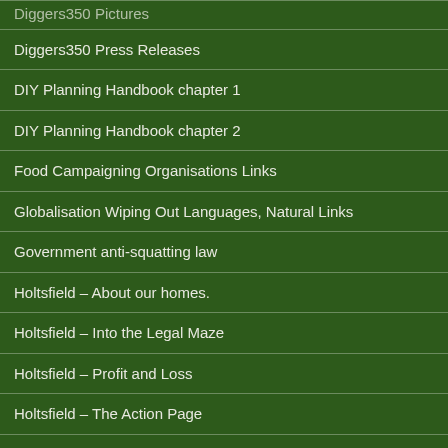Diggers350 Pictures
Diggers350 Press Releases
DIY Planning Handbook chapter 1
DIY Planning Handbook chapter 2
Food Campaigning Organisations Links
Globalisation Wiping Out Languages, Natural Links
Government anti-squatting law
Holtsfield – About our homes.
Holtsfield – Into the Legal Maze
Holtsfield – Profit and Loss
Holtsfield – The Action Page
Holtsfield – The Holtsfield to The House of Lords March
Holtsfield – The Residents Blackest Days